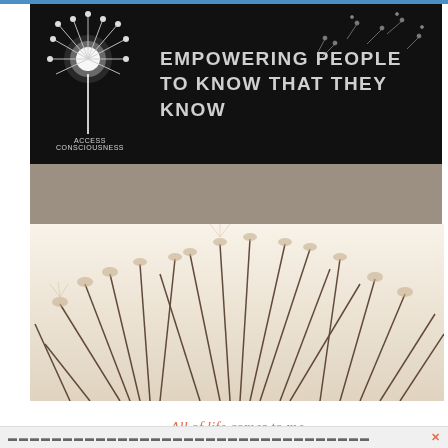[Figure (logo): Access Consciousness logo — dandelion illustration on black background with tagline 'EMPOWERING PEOPLE TO KNOW THAT THEY KNOW']
[Figure (photo): Close-up macro photograph of dandelion seed heads, soft focus, warm sepia/cream tones]
All of life comes to me with Ease Joy & Glory
...................................  ✕